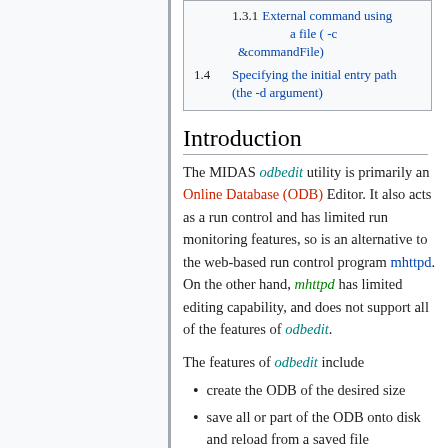1.3.1 External command using a file ( -c &commandFile)
1.4 Specifying the initial entry path (the -d argument)
Introduction
The MIDAS odbedit utility is primarily an Online Database (ODB) Editor. It also acts as a run control and has limited run monitoring features, so is an alternative to the web-based run control program mhttpd. On the other hand, mhttpd has limited editing capability, and does not support all of the features of odbedit.
The features of odbedit include
create the ODB of the desired size
save all or part of the ODB onto disk and reload from a saved file